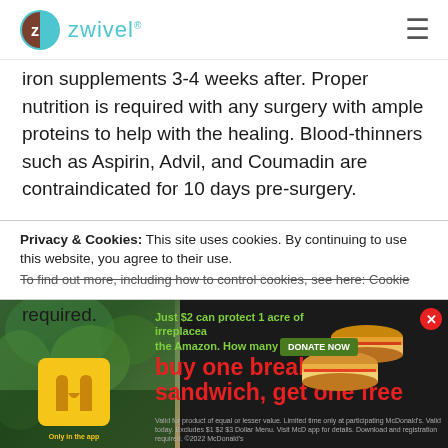zwivel [logo] [hamburger menu]
iron supplements 3-4 weeks after. Proper nutrition is required with any surgery with ample proteins to help with the healing. Blood-thinners such as Aspirin, Advil, and Coumadin are contraindicated for 10 days pre-surgery.
Patients are also required to see their family doctor pre-surgery for a routine pre-op assessment. Routine blood tests might also be required.
Privacy & Cookies: This site uses cookies. By continuing to use this website, you agree to their use.
To find out more, including how to control cookies, see here: Cookie
[Figure (other): McDonald's advertisement banner: buy one breakfast sandwich, get one free. Only in the app. Shows McDonald's golden arches logo, two breakfast sandwiches, and a green/nature background with Amazon conservation message.]